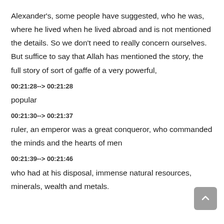Alexander's, some people have suggested, who he was, where he lived when he lived abroad and is not mentioned the details. So we don't need to really concern ourselves. But suffice to say that Allah has mentioned the story, the full story of sort of gaffe of a very powerful,
00:21:28--> 00:21:28
popular
00:21:30--> 00:21:37
ruler, an emperor was a great conqueror, who commanded the minds and the hearts of men
00:21:39--> 00:21:46
who had at his disposal, immense natural resources, minerals, wealth and metals.